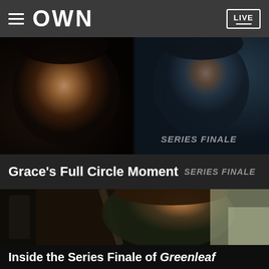OWN  LIVE
[Figure (screenshot): Two women in a car scene from Greenleaf TV show, dark dramatic lighting. Text overlay: 'SERIES FINALE']
Grace's Full Circle Moment  SERIES FINALE
[Figure (screenshot): A woman with long brown hair sitting in a car, smiling, from the Greenleaf series finale]
Inside the Series Finale of Greenleaf